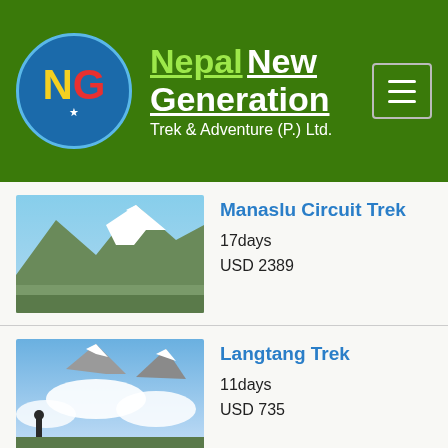[Figure (logo): Nepal New Generation Trek & Adventure (P.) Ltd. logo with circular icon showing NG letters and navigation menu icon]
Manaslu Circuit Trek | 17days | USD 2389
Langtang Trek | 11days | USD 735
Everest View Trek | 10days | USD 1180
Gokyo Lake Trekking | 15days